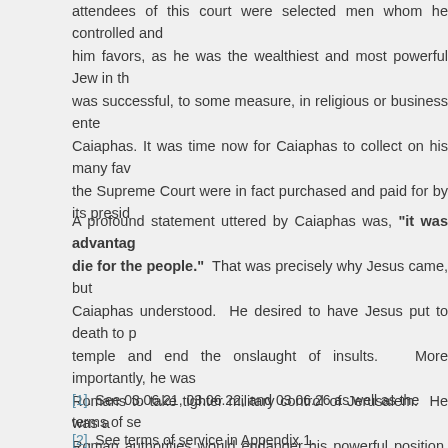attendees of this court were selected men whom he controlled and paid him favors, as he was the wealthiest and most powerful Jew in th... was successful, to some measure, in religious or business ente... Caiaphas. It was time now for Caiaphas to collect on his many fav... the Supreme Court were in fact purchased and paid for by its presid...
A profound statement uttered by Caiaphas was, "it was advantag... die for the people." That was precisely why Jesus came, but Caiaphas understood. He desired to have Jesus put to death to p... temple and end the onslaught of insults. More importantly, he was... Romans to take tighter military control of Jerusalem. He was a... Roman authorities would endanger his powerful position, which extended family extreme wealth and luxury. Beginning at this point... in every manner possible.
[1]. See 03.06.21, 03.06.22, and 03.06.26 as well as the terms of se...
[2]. See terms of service in Appendix 1.